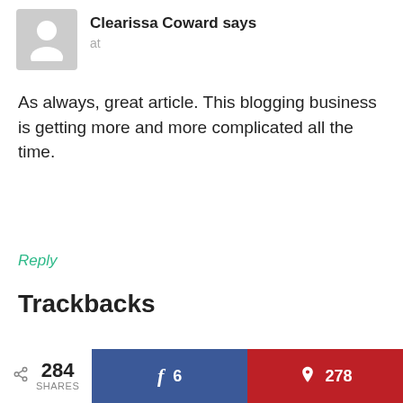Clearissa Coward says
at
As always, great article. This blogging business is getting more and more complicated all the time.
Reply
Trackbacks
284 SHARES   f 6   278